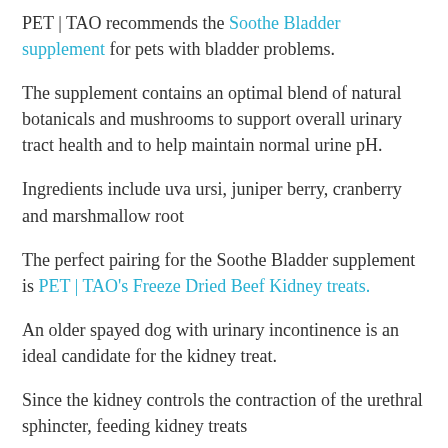PET | TAO recommends the Soothe Bladder supplement for pets with bladder problems.
The supplement contains an optimal blend of natural botanicals and mushrooms to support overall urinary tract health and to help maintain normal urine pH.
Ingredients include uva ursi, juniper berry, cranberry and marshmallow root
The perfect pairing for the Soothe Bladder supplement is PET | TAO's Freeze Dried Beef Kidney treats.
An older spayed dog with urinary incontinence is an ideal candidate for the kidney treat.
Since the kidney controls the contraction of the urethral sphincter, feeding kidney treats